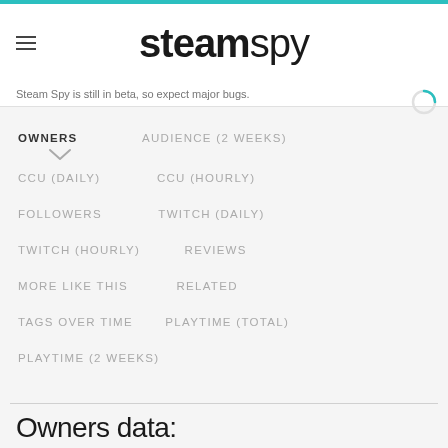steamspy
Steam Spy is still in beta, so expect major bugs.
OWNERS
AUDIENCE (2 WEEKS)
CCU (DAILY)
CCU (HOURLY)
FOLLOWERS
TWITCH (DAILY)
TWITCH (HOURLY)
REVIEWS
MORE LIKE THIS
RELATED
TAGS OVER TIME
PLAYTIME (TOTAL)
PLAYTIME (2 WEEKS)
Owners data: